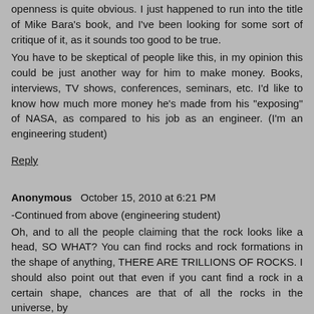openness is quite obvious. I just happened to run into the title of Mike Bara's book, and I've been looking for some sort of critique of it, as it sounds too good to be true.
You have to be skeptical of people like this, in my opinion this could be just another way for him to make money. Books, interviews, TV shows, conferences, seminars, etc. I'd like to know how much more money he's made from his "exposing" of NASA, as compared to his job as an engineer. (I'm an engineering student)
Reply
Anonymous  October 15, 2010 at 6:21 PM
-Continued from above (engineering student)
Oh, and to all the people claiming that the rock looks like a head, SO WHAT? You can find rocks and rock formations in the shape of anything, THERE ARE TRILLIONS OF ROCKS. I should also point out that even if you cant find a rock in a certain shape, chances are that of all the rocks in the universe, by